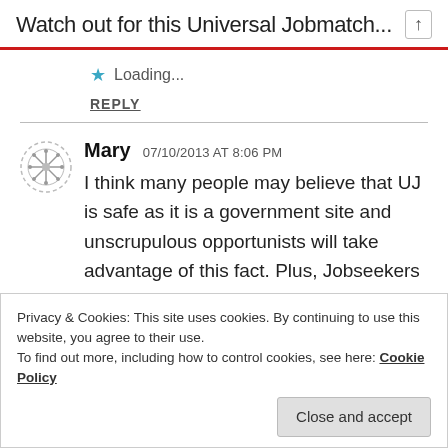Watch out for this Universal Jobmatch...
Loading...
REPLY
Mary  07/10/2013 AT 8:06 PM
I think many people may believe that UJ is safe as it is a government site and unscrupulous opportunists will take advantage of this fact. Plus, Jobseekers are
Privacy & Cookies: This site uses cookies. By continuing to use this website, you agree to their use.
To find out more, including how to control cookies, see here: Cookie Policy
Close and accept